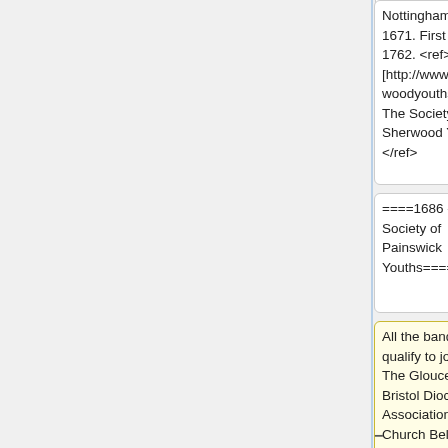Nottingham in 1671. First peal - 1762. <ref>[http://www.sherwoodyouths.org.uk The Society of Sherwood Youths]</ref>
Nottingham in 1671. First peal - 1762. <ref>[http://www.sherwoodyouths.org.uk The Society of Sherwood Youths]</ref>
====1686 - Ancient Society of Painswick Youths====
====1686 - Ancient Society of Painswick Youths====
All the band who qualify to join the The Gloucester & Bristol Diocesan Association of Church Bell Ringers are automatically members of the
All the band who qualify to join the The Gloucester & Bristol Diocesan Association of Church Bell Ringers are automatically members of the